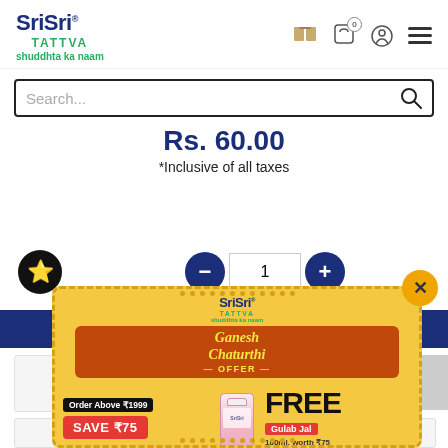[Figure (logo): Sri Sri Tattva logo with tagline 'shuddhta ka naam']
Search...
Rs. 60.00
*Inclusive of all taxes
[Figure (infographic): Ganesh Chaturthi offer popup banner - Order Above ₹1999, SAVE ₹75, FREE Gulab Jal 100ml worth ₹75]